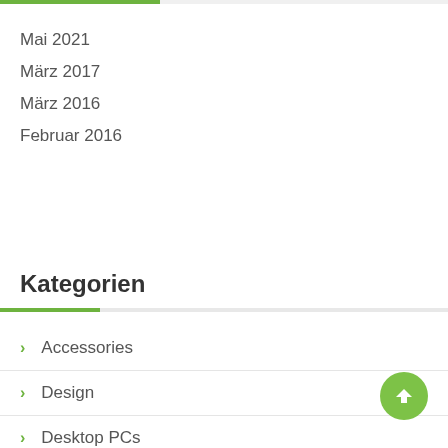Mai 2021
März 2017
März 2016
Februar 2016
Kategorien
Accessories
Design
Desktop PCs